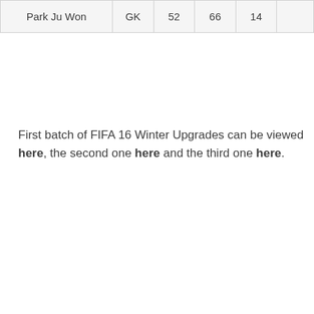| Park Ju Won | GK | 52 | 66 | 14 |  |
First batch of FIFA 16 Winter Upgrades can be viewed here, the second one here and the third one here.